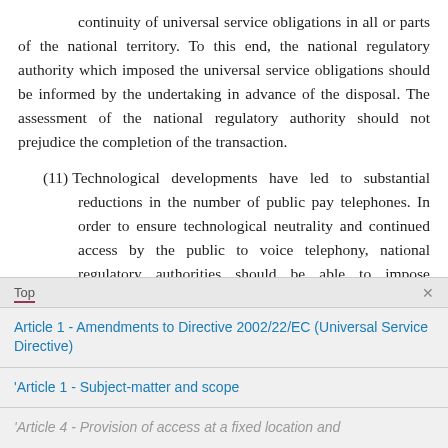continuity of universal service obligations in all or parts of the national territory. To this end, the national regulatory authority which imposed the universal service obligations should be informed by the undertaking in advance of the disposal. The assessment of the national regulatory authority should not prejudice the completion of the transaction.
(11)Technological developments have led to substantial reductions in the number of public pay telephones. In order to ensure technological neutrality and continued access by the public to voice telephony, national regulatory authorities should be able to impose obligations on undertakings to ensure not only that public pay telephones are provided to meet the reasonable needs of end-users, but also that
Top
Article 1 - Amendments to Directive 2002/22/EC (Universal Service Directive)
'Article 1 - Subject-matter and scope
'Article 4 - Provision of access at a fixed location and